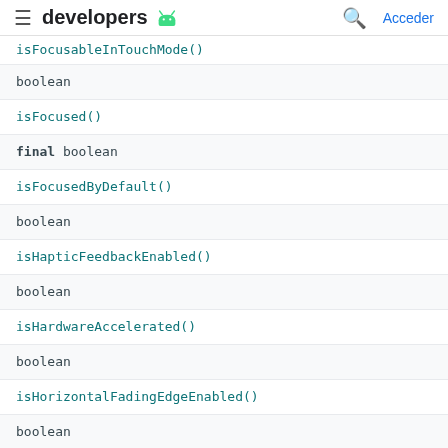developers [android logo]  [search]  Acceder
| type | method |
| --- | --- |
| (partial) isFocusableInTouchMode() |  |
| boolean |  |
| isFocused() |  |
| final boolean |  |
| isFocusedByDefault() |  |
| boolean |  |
| isHapticFeedbackEnabled() |  |
| boolean |  |
| isHardwareAccelerated() |  |
| boolean |  |
| isHorizontalFadingEdgeEnabled() |  |
| boolean |  |
| isHorizontalScrollBarEnabled() |  |
| boolean |  |